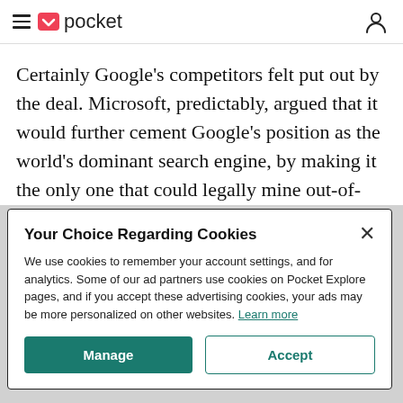Pocket
Certainly Google’s competitors felt put out by the deal. Microsoft, predictably, argued that it would further cement Google’s position as the world’s dominant search engine, by making it the only one that could legally mine out-of-print books. By
Your Choice Regarding Cookies
We use cookies to remember your account settings, and for analytics. Some of our ad partners use cookies on Pocket Explore pages, and if you accept these advertising cookies, your ads may be more personalized on other websites. Learn more
Manage
Accept